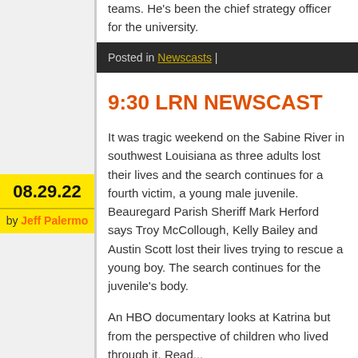teams. He's been the chief strategy officer for the university.
Posted in Newscasts |
08.29.22
by Jeff Palermo
9:30 LRN NEWSCAST
It was tragic weekend on the Sabine River in southwest Louisiana as three adults lost their lives and the search continues for a fourth victim, a young male juvenile. Beauregard Parish Sheriff Mark Herford says Troy McCollough, Kelly Bailey and Austin Scott lost their lives trying to rescue a young boy. The search continues for the juvenile's body.
An HBO documentary looks at Katrina but from the perspective of children who lived through it. Read...